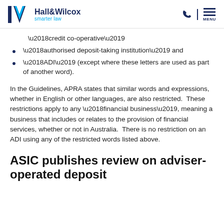Hall&Wilcox smarter law
'credit co-operative'
'authorised deposit-taking institution' and
'ADI' (except where these letters are used as part of another word).
In the Guidelines, APRA states that similar words and expressions, whether in English or other languages, are also restricted.  These restrictions apply to any ‘financial business’, meaning a business that includes or relates to the provision of financial services, whether or not in Australia.  There is no restriction on an ADI using any of the restricted words listed above.
ASIC publishes review on adviser-operated deposit